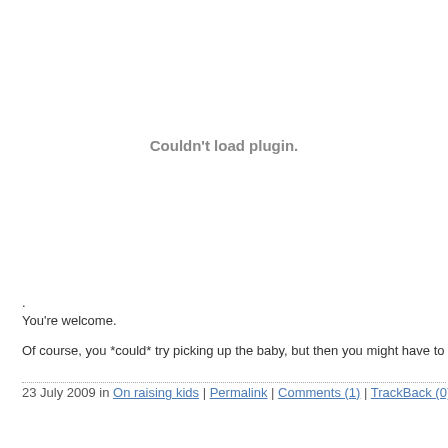[Figure (other): Embedded plugin area showing error message: Couldn't load plugin.]
.
You're welcome.
Of course, you *could* try picking up the baby, but then you might have to put down you...
23 July 2009 in On raising kids | Permalink | Comments (1) | TrackBack (0)